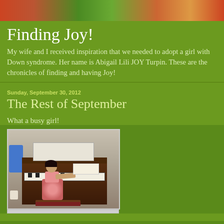[Figure (photo): Top banner image with colorful background featuring ladybug and green objects]
Finding Joy!
My wife and I received inspiration that we needed to adopt a girl with Down syndrome. Her name is Abigail Lili JOY Turpin. These are the chronicles of finding and having Joy!
Sunday, September 30, 2012
The Rest of September
What a busy girl!
[Figure (photo): Photo of a young girl sitting at a piano playing, seen from behind, wearing a floral dress, with sheet music on the piano stand]